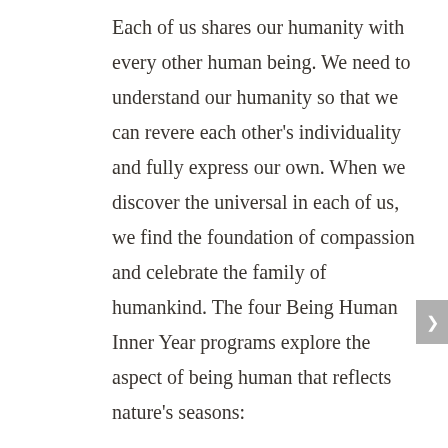Each of us shares our humanity with every other human being. We need to understand our humanity so that we can revere each other's individuality and fully express our own. When we discover the universal in each of us, we find the foundation of compassion and celebrate the family of humankind. The four Being Human Inner Year programs explore the aspect of being human that reflects nature's seasons:
Inner Winter: The Three Temptations
Inner Spring: Delighting in Differences: The Four Temperaments